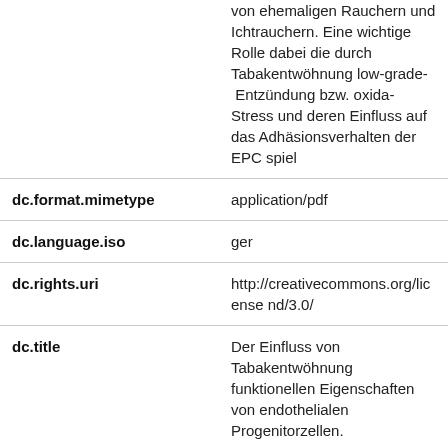| Field | Value |
| --- | --- |
|  | von ehemaligen Rauchern und Nichtrauchern. Eine wichtige Rolle dabei die durch Tabakentwöhnung low-grade- Entzündung bzw. oxida Stress und deren Einfluss auf das Adhäsionsverhalten der EPC spiel |
| dc.format.mimetype | application/pdf |
| dc.language.iso | ger |
| dc.rights.uri | http://creativecommons.org/license nd/3.0/ |
| dc.title | Der Einfluss von Tabakentwöhnung funktionellen Eigenschaften von endothelialen Progenitorzellen. |
| dc.type | doctoralThesis |
| dc.title.translated | Effect of smoking cessation on the properties of endothelial progenito |
| dc.contributor.referee | Schäfer, Katrin Prof. Dr. |